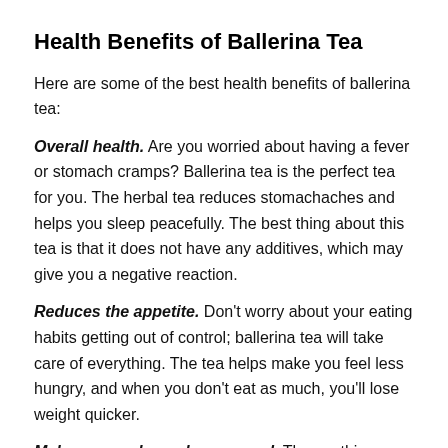Health Benefits of Ballerina Tea
Here are some of the best health benefits of ballerina tea:
Overall health. Are you worried about having a fever or stomach cramps? Ballerina tea is the perfect tea for you. The herbal tea reduces stomachaches and helps you sleep peacefully. The best thing about this tea is that it does not have any additives, which may give you a negative reaction.
Reduces the appetite. Don't worry about your eating habits getting out of control; ballerina tea will take care of everything. The tea helps make you feel less hungry, and when you don't eat as much, you'll lose weight quicker.
Makes you calm and composed. The soothing effect of the